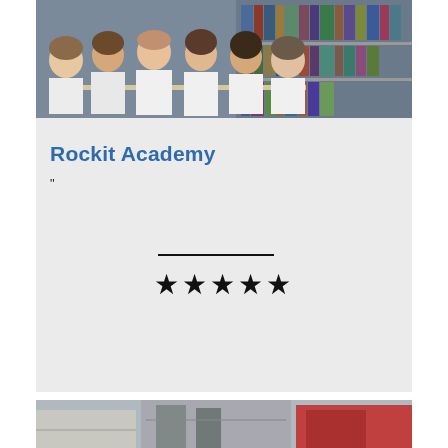[Figure (photo): Group of students in white uniforms studying together in a library]
Rockit Academy
"
[Figure (other): Horizontal divider line]
[Figure (other): Five star rating: ★★★★★]
[Figure (photo): Partial photo at bottom of page, appears to be a school building or hallway]